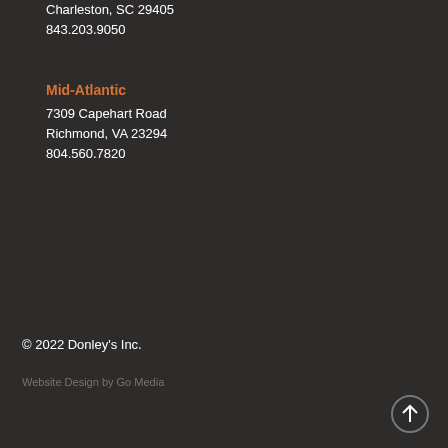Charleston, SC 29405
843.203.9050
Mid-Atlantic
7309 Capehart Road
Richmond, VA 23294
804.560.7820
© 2022 Donley's Inc.
Website Design by Go Media